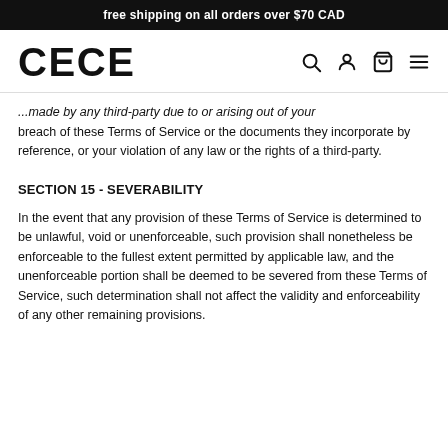free shipping on all orders over $70 CAD
[Figure (logo): CECE brand logo with navigation icons (search, account, cart, menu)]
...made by any third-party due to or arising out of your breach of these Terms of Service or the documents they incorporate by reference, or your violation of any law or the rights of a third-party.
SECTION 15 - SEVERABILITY
In the event that any provision of these Terms of Service is determined to be unlawful, void or unenforceable, such provision shall nonetheless be enforceable to the fullest extent permitted by applicable law, and the unenforceable portion shall be deemed to be severed from these Terms of Service, such determination shall not affect the validity and enforceability of any other remaining provisions.